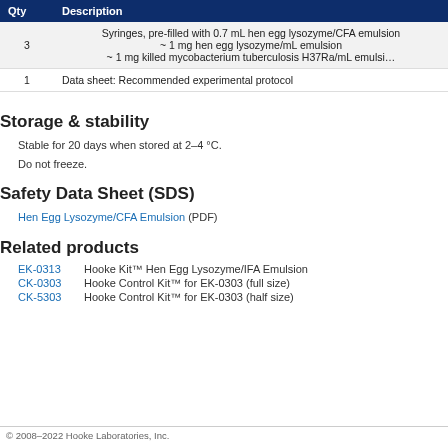| Qty | Description |
| --- | --- |
| 3 | Syringes, pre-filled with 0.7 mL hen egg lysozyme/CFA emulsion
~ 1 mg hen egg lysozyme/mL emulsion
~ 1 mg killed mycobacterium tuberculosis H37Ra/mL emulsion |
| 1 | Data sheet: Recommended experimental protocol |
Storage & stability
Stable for 20 days when stored at 2–4 °C.
Do not freeze.
Safety Data Sheet (SDS)
Hen Egg Lysozyme/CFA Emulsion (PDF)
Related products
EK-0313    Hooke Kit™ Hen Egg Lysozyme/IFA Emulsion
CK-0303    Hooke Control Kit™ for EK-0303 (full size)
CK-5303    Hooke Control Kit™ for EK-0303 (half size)
© 2008–2022 Hooke Laboratories, Inc.